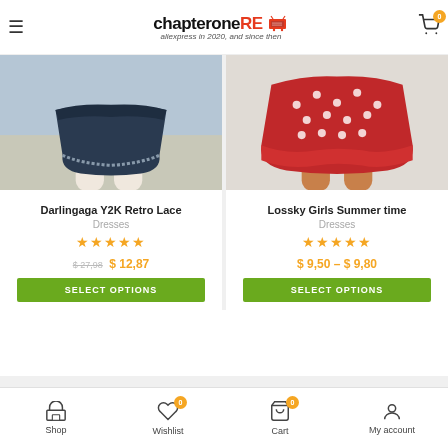chapterone.re — aliexpress in 2020, and since then
[Figure (photo): Product images of two dresses cropped at thigh level — left: dark navy lace dress on white background, right: red polka-dot summer dress on light background]
Darlingaga Y2K Retro Lace
Dresses
★★★★★
$ 27,98  $ 12,87
SELECT OPTIONS
Lossky Girls Summer time
Dresses
★★★★★
$ 9,50 – $ 9,80
SELECT OPTIONS
Shop  Wishlist 0  Cart 0  My account